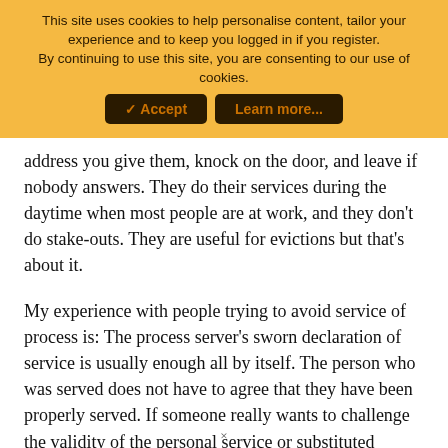This site uses cookies to help personalise content, tailor your experience and to keep you logged in if you register.
By continuing to use this site, you are consenting to our use of cookies.
[Accept] [Learn more...]
address you give them, knock on the door, and leave if nobody answers. They do their services during the daytime when most people are at work, and they don't do stake-outs. They are useful for evictions but that's about it.
My experience with people trying to avoid service of process is: The process server's sworn declaration of service is usually enough all by itself. The person who was served does not have to agree that they have been properly served. If someone really wants to challenge the validity of the personal service or substituted service or service by publication, they have to do it by filing a motion with the court - usually a motion to quash but